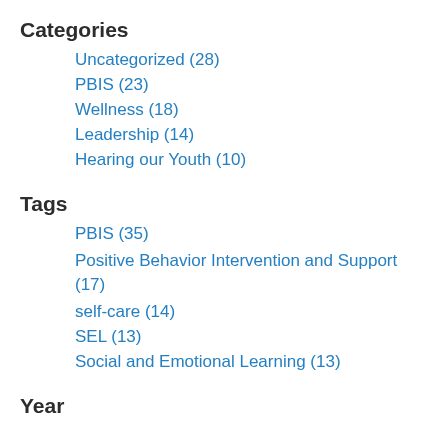Categories
Uncategorized (28)
PBIS (23)
Wellness (18)
Leadership (14)
Hearing our Youth (10)
Tags
PBIS (35)
Positive Behavior Intervention and Support (17)
self-care (14)
SEL (13)
Social and Emotional Learning (13)
Year